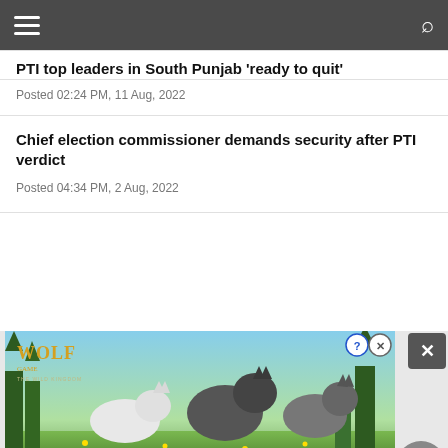Navigation bar with hamburger menu and search icon
PTI top leaders in South Punjab 'ready to quit'
Posted 02:24 PM, 11 Aug, 2022
Chief election commissioner demands security after PTI verdict
Posted 04:34 PM, 2 Aug, 2022
[Figure (photo): Wolf Game - The Wild Kingdom advertisement showing wolves in a forest with text 'THE HUNT IS ON!']